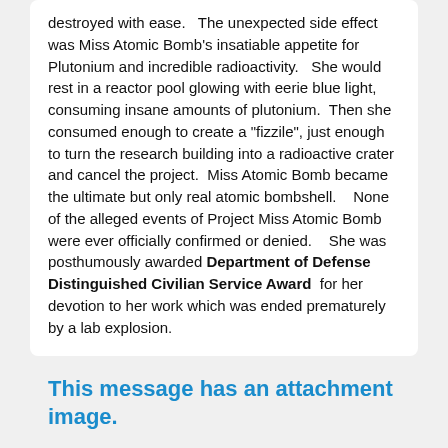destroyed with ease.   The unexpected side effect was Miss Atomic Bomb's insatiable appetite for Plutonium and incredible radioactivity.   She would rest in a reactor pool glowing with eerie blue light, consuming insane amounts of plutonium.  Then she consumed enough to create a "fizzile", just enough to turn the research building into a radioactive crater and cancel the project.  Miss Atomic Bomb became the ultimate but only real atomic bombshell.   None of the alleged events of Project Miss Atomic Bomb were ever officially confirmed or denied.   She was posthumously awarded Department of Defense Distinguished Civilian Service Award  for her devotion to her work which was ended prematurely by a lab explosion.
This message has an attachment image.